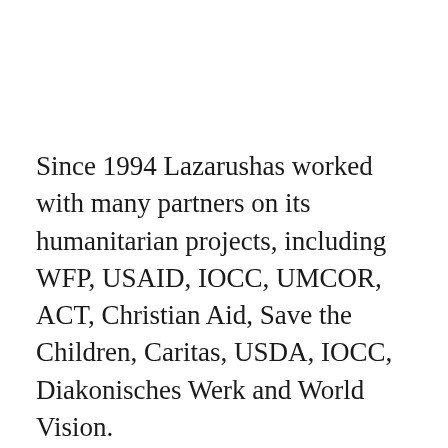Since 1994 Lazarushas worked with many partners on its humanitarian projects, including WFP, USAID, IOCC, UMCOR, ACT, Christian Aid, Save the Children, Caritas, USDA, IOCC, Diakonisches Werk and World Vision.
In 2000, under the initiative of the Patriarch, the foundation was registered as a nonprofit legal entity. Since then, Lazarus started carrying out